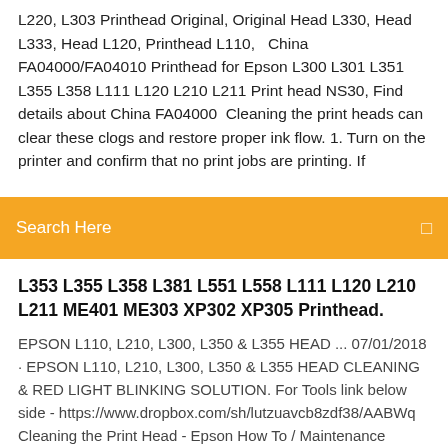L220, L303 Printhead Original, Original Head L330, Head L333, Head L120, Printhead L110,   China FA04000/FA04010 Printhead for Epson L300 L301 L351 L355 L358 L111 L120 L210 L211 Print head NS30, Find details about China FA04000  Cleaning the print heads can clear these clogs and restore proper ink flow. 1. Turn on the printer and confirm that no print jobs are printing. If
[Figure (screenshot): Orange search bar with text 'Search Here' and a search icon on the right]
L353 L355 L358 L381 L551 L558 L111 L120 L210 L211 ME401 ME303 XP302 XP305 Printhead.
EPSON L110, L210, L300, L350 & L355 HEAD ... 07/01/2018 · EPSON L110, L210, L300, L350 & L355 HEAD CLEANING & RED LIGHT BLINKING SOLUTION. For Tools link below side - https://www.dropbox.com/sh/lutzuavcb8zdf38/AABWq Cleaning the Print Head - Epson How To / Maintenance Cleaning the Print Head Using the Head Cleaning utility Using the control panel buttons. If you find that the printed image is unexpectedly